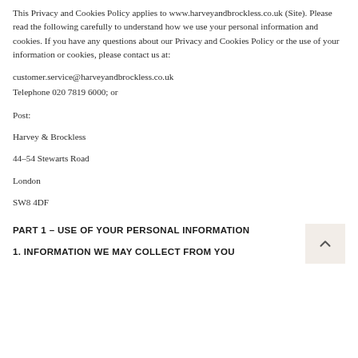This Privacy and Cookies Policy applies to www.harveyandbrockless.co.uk (Site). Please read the following carefully to understand how we use your personal information and cookies. If you have any questions about our Privacy and Cookies Policy or the use of your information or cookies, please contact us at:
customer.service@harveyandbrockless.co.uk
Telephone 020 7819 6000; or
Post:
Harvey & Brockless
44–54 Stewarts Road
London
SW8 4DF
PART 1 – USE OF YOUR PERSONAL INFORMATION
1. INFORMATION WE MAY COLLECT FROM YOU